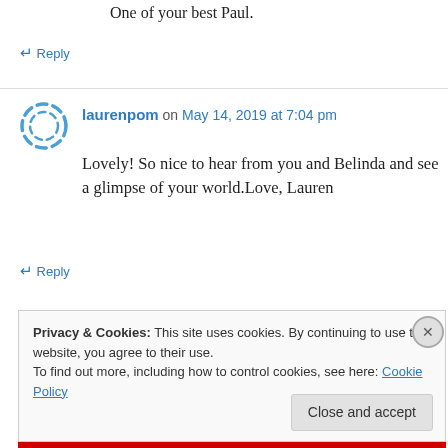One of your best Paul.
↳ Reply
laurenpom on May 14, 2019 at 7:04 pm
Lovely! So nice to hear from you and Belinda and see a glimpse of your world.Love, Lauren
↳ Reply
Privacy & Cookies: This site uses cookies. By continuing to use this website, you agree to their use.
To find out more, including how to control cookies, see here: Cookie Policy